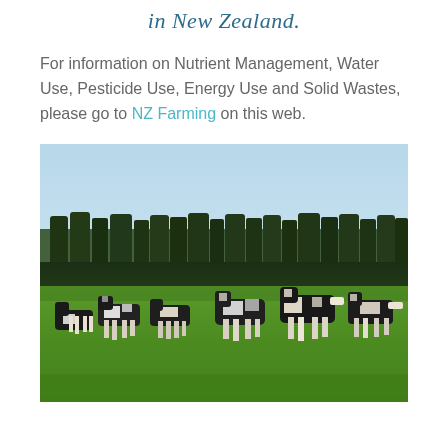in New Zealand.
For information on Nutrient Management, Water Use, Pesticide Use, Energy Use and Solid Wastes, please go to NZ Farming on this web.
[Figure (photo): Black and white dairy cows grazing on lush green pasture with a row of tall dark hedges and trees in the background under a clear blue sky, typical New Zealand farming scene.]